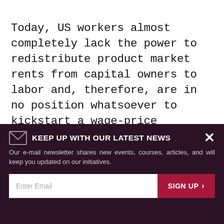Today, US workers almost completely lack the power to redistribute product market rents from capital owners to labor and, therefore, are in no position whatsoever to kickstart a wage-price inflation spiral. As a result, nominal wages are constantly chasing inflation, which is mostly due to higher import prices, higher energy prices, and higher profit markups—Alice's Red Queen was wrong: even if workers do all the running they can do, their nominal wages keep lagging behind the inflation rate and their real wages are going down
KEEP UP WITH OUR LATEST NEWS
Our e-mail newsletter shares new events, courses, articles, and will keep you updated on our initiatives.